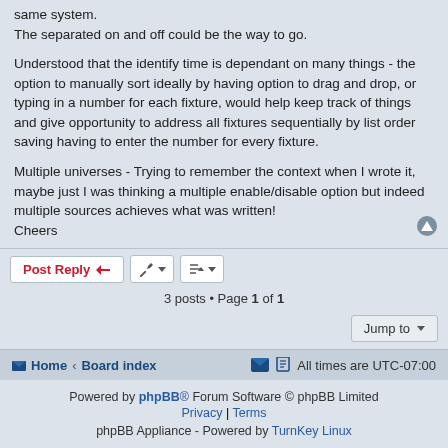same system.
The separated on and off could be the way to go.
Understood that the identify time is dependant on many things - the option to manually sort ideally by having option to drag and drop, or typing in a number for each fixture, would help keep track of things and give opportunity to address all fixtures sequentially by list order saving having to enter the number for every fixture.
Multiple universes - Trying to remember the context when I wrote it, maybe just I was thinking a multiple enable/disable option but indeed multiple sources achieves what was written!
Cheers
3 posts • Page 1 of 1
Home · Board index   All times are UTC-07:00
Powered by phpBB® Forum Software © phpBB Limited
Privacy | Terms
phpBB Appliance - Powered by TurnKey Linux